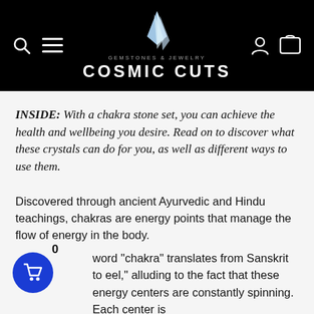[Figure (logo): Cosmic Cuts gemstones and jewelry logo with crystal graphic on black background header with search, menu, account, and cart icons]
INSIDE: With a chakra stone set, you can achieve the health and wellbeing you desire. Read on to discover what these crystals can do for you, as well as different ways to use them.
Discovered through ancient Ayurvedic and Hindu teachings, chakras are energy points that manage the flow of energy in the body.
word "chakra" translates from Sanskrit to eel," alluding to the fact that these energy centers are constantly spinning. Each center is